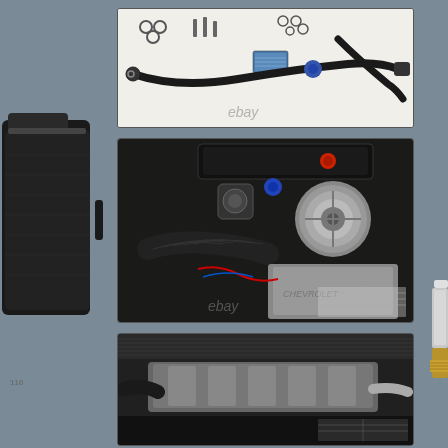[Figure (photo): Auto parts kit laid out on white background showing hoses, fittings, O-rings, sensors, and other components with eBay watermark]
[Figure (photo): Close-up of a vehicle engine bay showing power steering pump, pulleys, hoses, and other engine components with eBay watermark]
[Figure (photo): Close-up of vehicle engine components showing intake manifold and other parts]